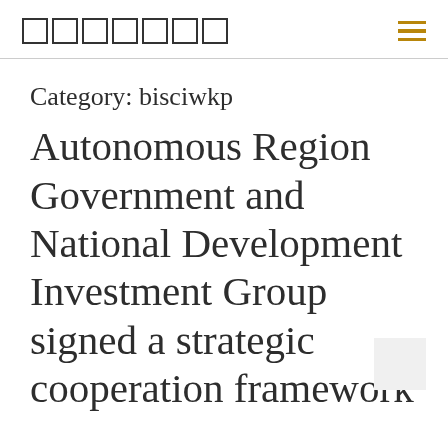□□□□□□□
Category: bisciwkp
Autonomous Region Government and National Development Investment Group signed a strategic cooperation framework